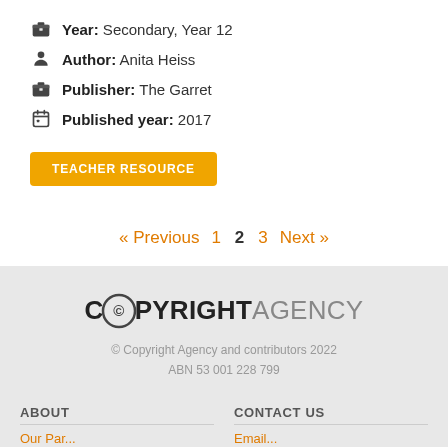Year: Secondary, Year 12
Author: Anita Heiss
Publisher: The Garret
Published year: 2017
TEACHER RESOURCE
« Previous  1  2  3  Next »
[Figure (logo): Copyright Agency logo with stylized C and copyright symbol]
© Copyright Agency and contributors 2022
ABN 53 001 228 799
ABOUT
CONTACT US